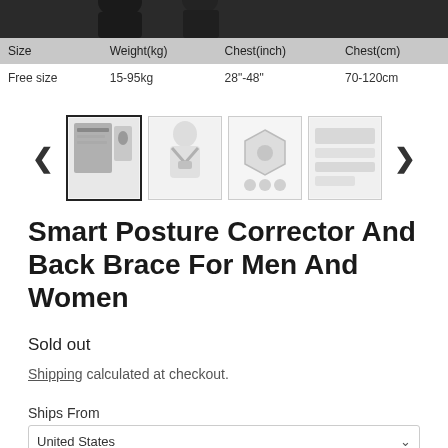[Figure (photo): Top portion of product image showing people wearing posture corrector, cropped at top]
| Size | Weight(kg) | Chest(inch) | Chest(cm) |
| --- | --- | --- | --- |
| Free size | 15-95kg | 28"-48" | 70-120cm |
[Figure (photo): Thumbnail gallery carousel with four product images: front view with chart, back view of person wearing brace, component view, and product packaging. Navigation arrows on left and right.]
Smart Posture Corrector And Back Brace For Men And Women
Sold out
Shipping calculated at checkout.
Ships From
United States